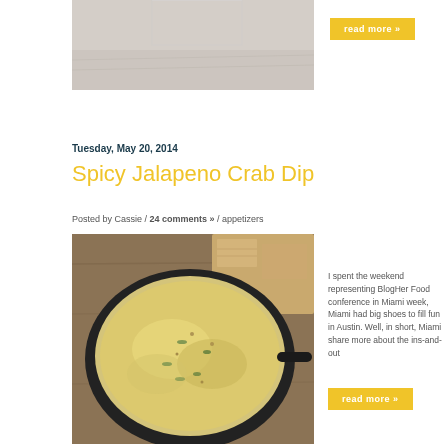[Figure (photo): Partial top photo cropped, showing what appears to be a beach or sandy scene with a structure]
read more »
Tuesday, May 20, 2014
Spicy Jalapeno Crab Dip
Posted by Cassie / 24 comments » / appetizers
[Figure (photo): Close-up photo of a cast iron skillet containing Spicy Jalapeno Crab Dip, golden and cheesy on top, with crackers visible in background on a wooden surface]
I spent the weekend representing BlogHer Food conference in Miami week, Miami had big shoes to fill fun in Austin. Well, in short, Miami share more about the ins-and-out
read more »